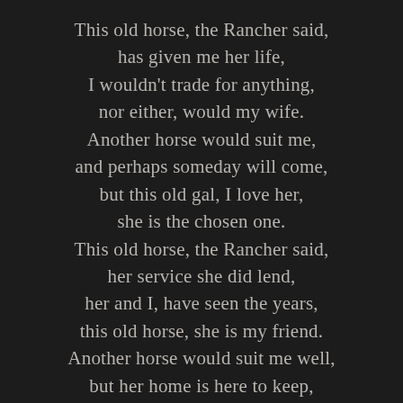This old horse, the Rancher said,
has given me her life,
I wouldn't trade for anything,
nor either, would my wife.
Another horse would suit me,
and perhaps someday will come,
but this old gal, I love her,
she is the chosen one.
This old horse, the Rancher said,
her service she did lend,
her and I, have seen the years,
this old horse, she is my friend.
Another horse would suit me well,
but her home is here to keep,
I owe her sanctuary,